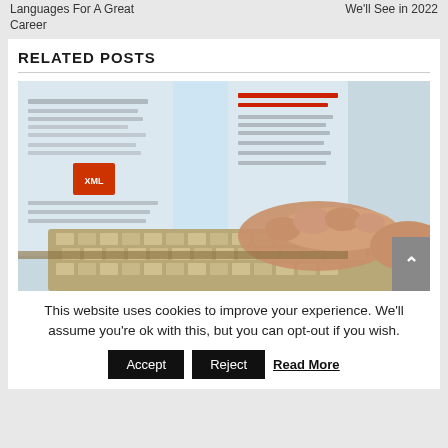Languages For A Great Career
We'll See in 2022
RELATED POSTS
[Figure (photo): A person typing on a laptop keyboard, with a web page visible on the screen showing text and an orange badge/logo.]
This website uses cookies to improve your experience. We'll assume you're ok with this, but you can opt-out if you wish.
Accept   Reject   Read More